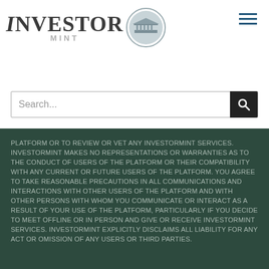[Figure (logo): InvestorMint logo with stylized text and circular coin/building icon]
[Figure (other): Hamburger menu icon (three horizontal blue lines)]
[Figure (other): Search bar with magnifying glass icon]
PLATFORM OR TO REVIEW OR VET ANY INVESTORMINT Services. INVESTORMINT MAKES NO REPRESENTATIONS OR WARRANTIES AS TO THE CONDUCT OF USERS OF THE PLATFORM OR THEIR COMPATIBILITY WITH ANY CURRENT OR FUTURE USERS OF THE PLATFORM. YOU AGREE TO TAKE REASONABLE PRECAUTIONS IN ALL COMMUNICATIONS AND INTERACTIONS WITH OTHER USERS OF THE PLATFORM AND WITH OTHER PERSONS WITH WHOM YOU COMMUNICATE OR INTERACT AS A RESULT OF YOUR USE OF THE PLATFORM, PARTICULARLY IF YOU DECIDE TO MEET OFFLINE OR IN PERSON AND GIVE OR RECEIVE INVESTORMINT Services. INVESTORMINT EXPLICITLY DISCLAIMS ALL LIABILITY FOR ANY ACT OR OMISSION OF ANY USERS OR THIRD PARTIES.